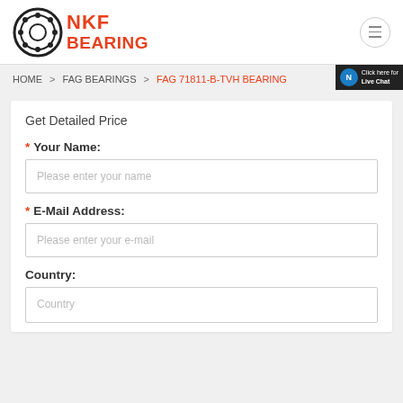[Figure (logo): NKF Bearing logo with circular bearing graphic and red bold text NKF BEARING]
NKF BEARING
HOME > FAG BEARINGS > FAG 71811-B-TVH BEARING
Get Detailed Price
* Your Name:
Please enter your name
* E-Mail Address:
Please enter your e-mail
Country:
Country